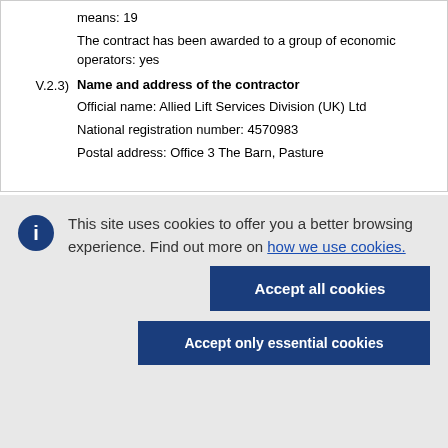means: 19
The contract has been awarded to a group of economic operators: yes
V.2.3) Name and address of the contractor
Official name: Allied Lift Services Division (UK) Ltd
National registration number: 4570983
Postal address: Office 3 The Barn, Pasture
This site uses cookies to offer you a better browsing experience. Find out more on how we use cookies.
Accept all cookies
Accept only essential cookies